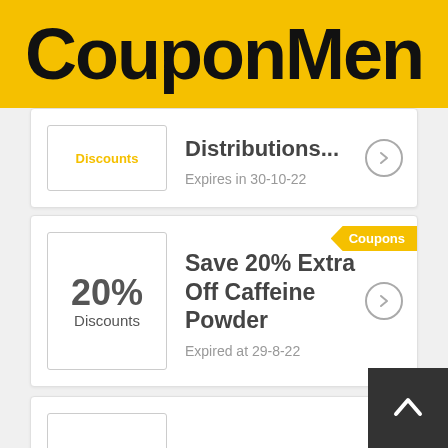CouponMen
Discounts
Distributions...
Expires in 30-10-22
Coupons
20% Discounts
Save 20% Extra Off Caffeine Powder
Expired at 29-8-22
Coupons
10% Discounts
An Extra 10% Off Sitewide
Expired at 29-8-22